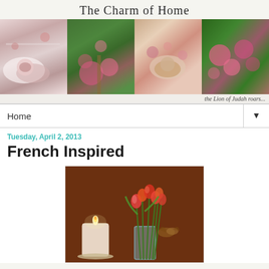The Charm of Home
[Figure (photo): Blog header collage of four panels: teacup with roses, pink roses in garden, tea set with pink flowers, and pink flowers in outdoor garden]
the Lion of Judah roars...
Home
Tuesday, April 2, 2013
French Inspired
[Figure (photo): A lit white pillar candle on a holder next to a glass vase containing red and orange tulips, with a decorative butterfly ornament, against a warm brown background]